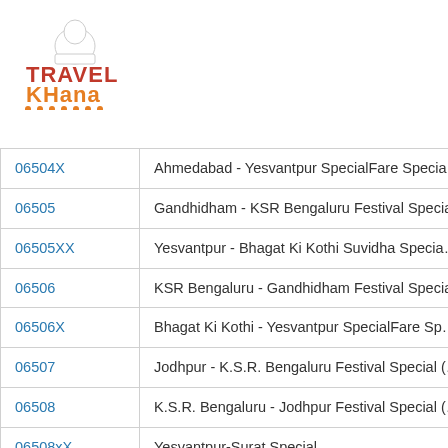[Figure (logo): TravelKhana logo with chef hat icon and orange/dark red text with orange dots underline]
| 06504X | Ahmedabad - Yesvantpur SpecialFare Specia… |
| 06505 | Gandhidham - KSR Bengaluru Festival Specia… |
| 06505XX | Yesvantpur - Bhagat Ki Kothi Suvidha Specia… |
| 06506 | KSR Bengaluru - Gandhidham Festival Specia… |
| 06506X | Bhagat Ki Kothi - Yesvantpur SpecialFare Sp… |
| 06507 | Jodhpur - K.S.R. Bengaluru Festival Special (… |
| 06508 | K.S.R. Bengaluru - Jodhpur Festival Special (… |
| 06508xX | Yesvantpur-Surat Special |
| 06509x | Yesvantpur - Jaipur Special |
| 06510xX | Jaipur - Yesvantpur Tatkal Fare Special |